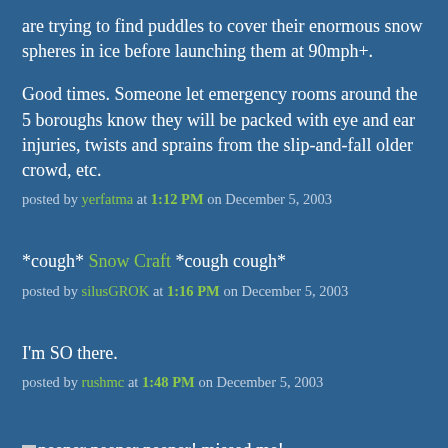are trying to find puddles to cover their enormous snow spheres in ice before launching them at 90mph+.
Good times. Someone let emergency rooms around the 5 boroughs know they will be packed with eye and ear injuries, twists and sprains from the slip-and-fall older crowd, etc.
posted by yerfatma at 1:12 PM on December 5, 2003
*cough* Snow Craft *cough cough*
posted by silusGROK at 1:16 PM on December 5, 2003
I'm SO there.
posted by rushmc at 1:48 PM on December 5, 2003
neener neener neener! missed me!